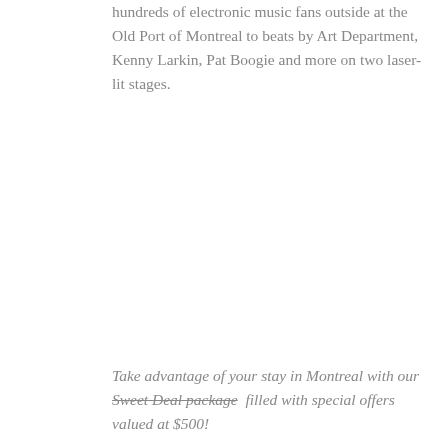hundreds of electronic music fans outside at the Old Port of Montreal to beats by Art Department, Kenny Larkin, Pat Boogie and more on two laser-lit stages.
Take advantage of your stay in Montreal with our Sweet Deal package filled with special offers valued at $500!